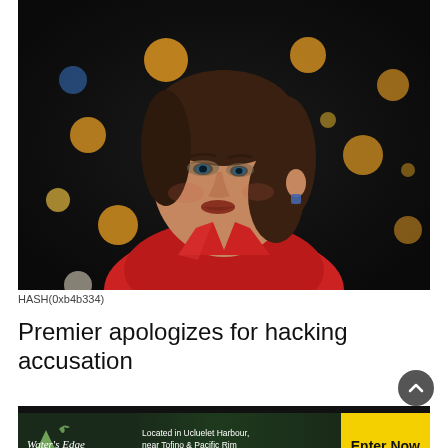[Figure (photo): A woman with dark brown hair wearing a red jacket, photographed in front of a bokeh background with colorful lights (Christmas tree lights). She is looking slightly to the left with a serious expression and wearing a small blue/silver earring.]
HASH(0xb4b334)
Premier apologizes for hacking accusation
[Figure (infographic): Advertisement banner for Water's Edge resort. Text reads: Located in Ucluelet Harbour, near Tofino & Pacific Rim National Park Reserve. Button: Enter Now]